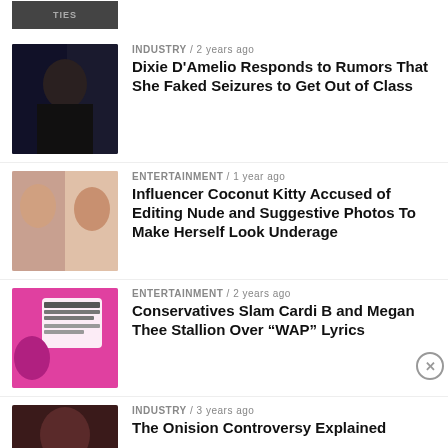[Figure (photo): Partial thumbnail of previous article at top of page, cropped]
INDUSTRY / 2 years ago
Dixie D'Amelio Responds to Rumors That She Faked Seizures to Get Out of Class
ENTERTAINMENT / 1 year ago
Influencer Coconut Kitty Accused of Editing Nude and Suggestive Photos To Make Herself Look Underage
ENTERTAINMENT / 2 years ago
Conservatives Slam Cardi B and Megan Thee Stallion Over “WAP” Lyrics
INDUSTRY / 3 years ago
The Onision Controversy Explained
Advertisements
[Figure (illustration): WooCommerce advertisement banner: dark purple/navy background with teal triangle, orange circle, blue circle shapes. WooCommerce logo on left with arrow graphic. Text: Turn your hobby into a business in 8 steps]